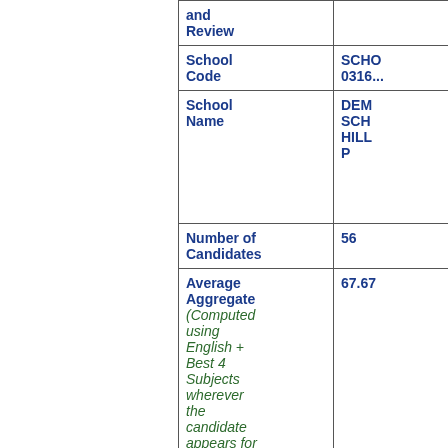| Field | Value |
| --- | --- |
| and Review |  |
| School Code | SCHO 0316... |
| School Name | DEM SCH HILL P |
| Number of Candidates | 56 |
| Average Aggregate (Computed using English + Best 4 Subjects wherever the candidate appears for more than... | 67.67 |